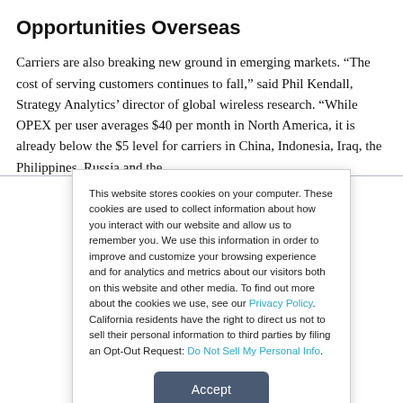Opportunities Overseas
Carriers are also breaking new ground in emerging markets. “The cost of serving customers continues to fall,” said Phil Kendall, Strategy Analytics’ director of global wireless research. “While OPEX per user averages $40 per month in North America, it is already below the $5 level for carriers in China, Indonesia, Iraq, the Philippines, Russia and the
This website stores cookies on your computer. These cookies are used to collect information about how you interact with our website and allow us to remember you. We use this information in order to improve and customize your browsing experience and for analytics and metrics about our visitors both on this website and other media. To find out more about the cookies we use, see our Privacy Policy. California residents have the right to direct us not to sell their personal information to third parties by filing an Opt-Out Request: Do Not Sell My Personal Info.
Accept